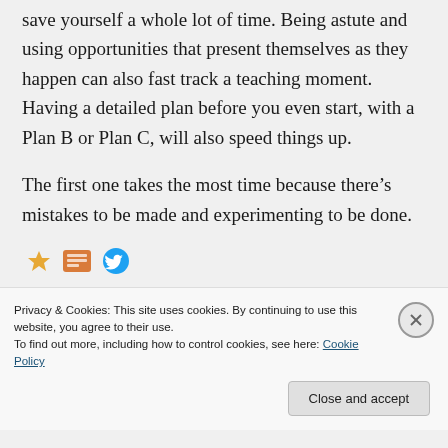save yourself a whole lot of time. Being astute and using opportunities that present themselves as they happen can also fast track a teaching moment. Having a detailed plan before you even start, with a Plan B or Plan C, will also speed things up.

The first one takes the most time because there's mistakes to be made and experimenting to be done.
Privacy & Cookies: This site uses cookies. By continuing to use this website, you agree to their use.
To find out more, including how to control cookies, see here: Cookie Policy